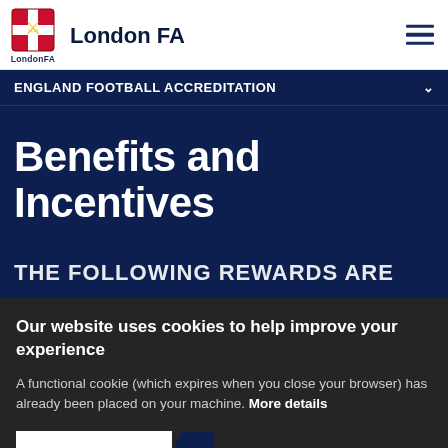London FA
ENGLAND FOOTBALL ACCREDITATION
Benefits and Incentives
THE FOLLOWING REWARDS ARE
Our website uses cookies to help improve your experience
A functional cookie (which expires when you close your browser) has already been placed on your machine. More details
ACCEPT COOKIES